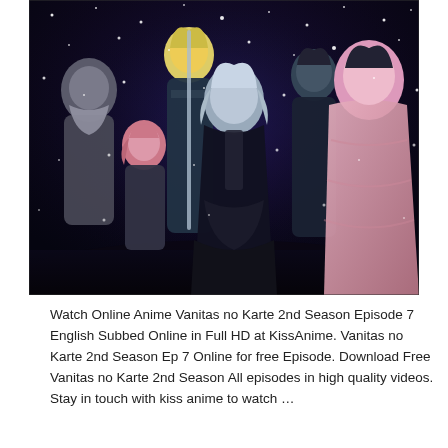[Figure (illustration): Anime illustration from Vanitas no Karte 2nd Season showing multiple anime characters in a snowy night scene with dark fantasy aesthetic. Characters include figures with white, blonde, pink hair wearing dark and light colored outfits.]
Watch Online Anime Vanitas no Karte 2nd Season Episode 7 English Subbed Online in Full HD at KissAnime. Vanitas no Karte 2nd Season Ep 7 Online for free Episode. Download Free Vanitas no Karte 2nd Season All episodes in high quality videos. Stay in touch with kiss anime to watch …
Read More »